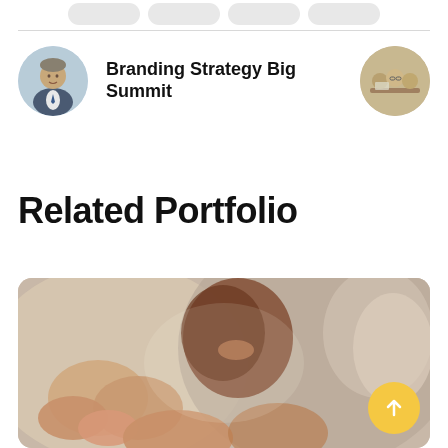[Figure (illustration): Top navigation pills/tabs row (partially visible, cropped at top)]
Branding Strategy Big Summit
[Figure (photo): Circular avatar photo of a businessman in a suit on the left side]
[Figure (photo): Circular avatar photo of people at a meeting/event on the right side]
Related Portfolio
[Figure (photo): Photo of a group of people clapping/applauding at an event, blurred background, cropped at bottom of page]